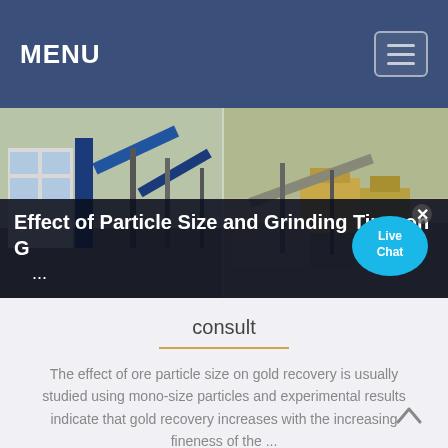MENU
[Figure (photo): Industrial mining/crushing equipment facility — two panoramic photos side by side showing conveyors, crushers, and processing equipment outdoors.]
Effect of Particle Size and Grinding Time on G... ...
consult
The effect of ore particle size on gold recovery is usually studied using mono-size particles and experimental results indicate that gold recovery increases with the increasing fineness of the ...